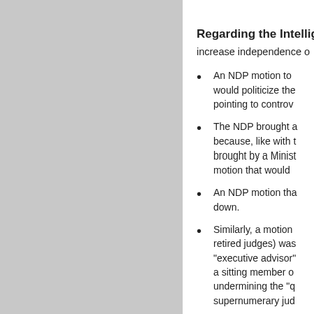[Figure (photo): Gray placeholder image occupying the left column of the page]
Regarding the Intelli...
increase independence o...
An NDP motion to... would politicize the... pointing to controv...
The NDP brought a... because, like with t... brought by a Minist... motion that would...
An NDP motion tha... down.
Similarly, a motion... retired judges) was... "executive advisor"... a sitting member o... undermining the "q... supernumerary jud...